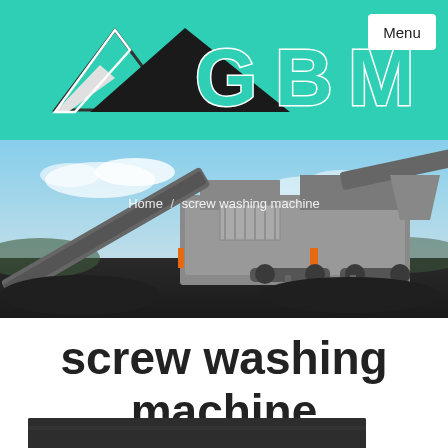[Figure (logo): GBM logo with mountain/triangle graphic in teal and black on teal background, with Menu button]
[Figure (photo): Large industrial screw washing machine / mobile crushing and screening plant photographed outdoors on a dark aggregate surface with blue sky background]
Home / screw washing machine
screw washing machine
[Figure (photo): Bottom partial image strip showing another view of industrial equipment, dark/grey tones]